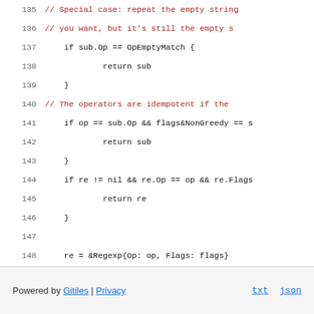135-151: Go source code snippet showing repeat/regexp logic
Powered by Gitiles | Privacy    txt  json